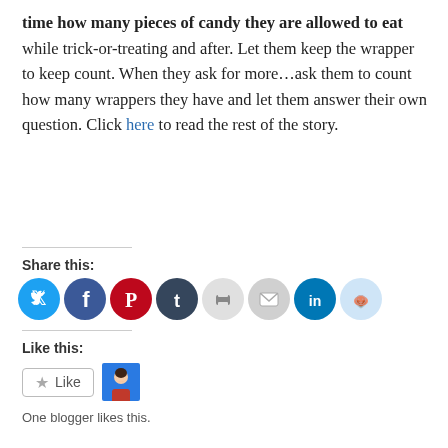time how many pieces of candy they are allowed to eat while trick-or-treating and after. Let them keep the wrapper to keep count. When they ask for more…ask them to count how many wrappers they have and let them answer their own question. Click here to read the rest of the story.
Share this:
[Figure (infographic): Row of social media share icons: Twitter (cyan), Facebook (blue), Pinterest (red), Tumblr (dark navy), Print (light gray), Email (light gray), LinkedIn (teal), Reddit (light blue)]
Like this:
[Figure (infographic): Like button with star icon and a blogger avatar thumbnail]
One blogger likes this.